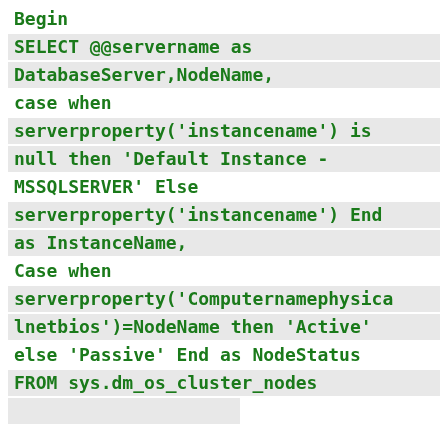Begin
SELECT @@servername as DatabaseServer,NodeName,
case when serverproperty('instancename') is null then 'Default Instance - MSSQLSERVER' Else serverproperty('instancename') End as InstanceName,
Case when serverproperty('Computernamephysicalnetbios')=NodeName then 'Active' else 'Passive' End as NodeStatus
FROM sys.dm_os_cluster_nodes